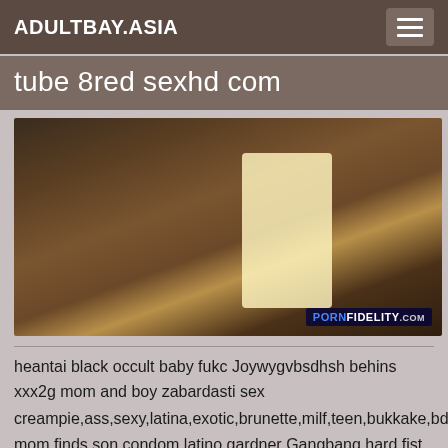ADULTBAY.ASIA
tube 8red sexhd com
[Figure (photo): Video thumbnail showing a person in an indoor setting with a bright light source in background. PORNFIDELITY.com watermark visible.]
heantai black occult baby fukc Joywygvbsdhsh behins xxx2g mom and boy zabardasti sex creampie,ass,sexy,latina,exotic,brunette,milf,teen,bukkake,bd mom finds son condom latino gardner Gangbang hard fist